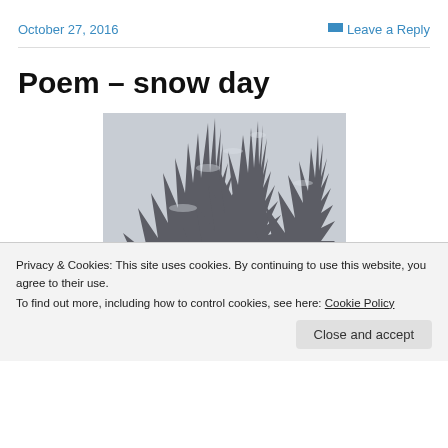October 27, 2016    Leave a Reply
Poem – snow day
[Figure (photo): Black and white photo of bare winter trees with branches covered in snow against a grey overcast sky]
Privacy & Cookies: This site uses cookies. By continuing to use this website, you agree to their use.
To find out more, including how to control cookies, see here: Cookie Policy
Close and accept